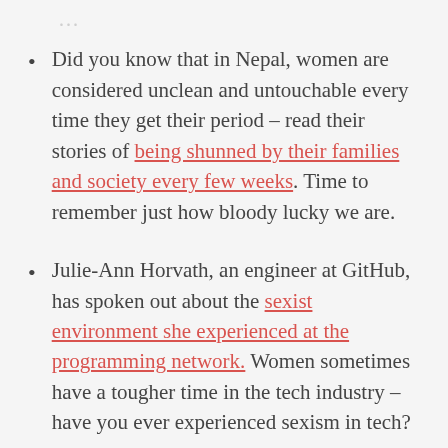Did you know that in Nepal, women are considered unclean and untouchable every time they get their period – read their stories of being shunned by their families and society every few weeks. Time to remember just how bloody lucky we are.
Julie-Ann Horvath, an engineer at GitHub, has spoken out about the sexist environment she experienced at the programming network. Women sometimes have a tougher time in the tech industry – have you ever experienced sexism in tech?